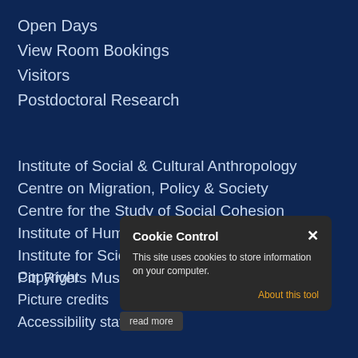Open Days
View Room Bookings
Visitors
Postdoctoral Research
Institute of Social & Cultural Anthropology
Centre on Migration, Policy & Society
Centre for the Study of Social Cohesion
Institute of Human Sciences
Institute for Science, Innovation & Society
Pitt Rivers Museum
[Figure (screenshot): Cookie Control popup dialog with title 'Cookie Control', close button X, text 'This site uses cookies to store information on your computer.', link 'About this tool', and a 'read more' button below]
Copyright
Picture credits
Accessibility statement